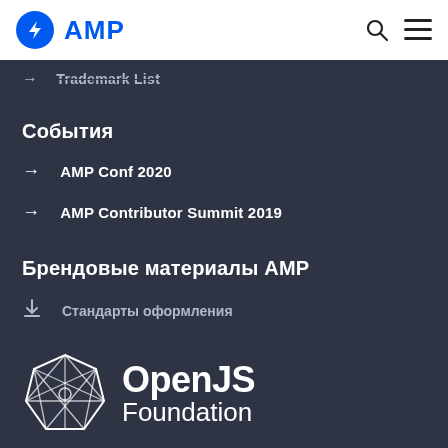AMP
Trademark List
События
AMP Conf 2020
AMP Contributor Summit 2019
Брендовые материалы AMP
Стандарты оформления
Логотипы
[Figure (logo): OpenJS Foundation logo with geometric sphere icon and OpenJS Foundation text in white]